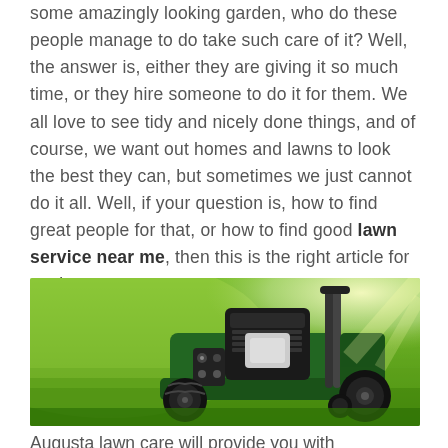some amazingly looking garden, who do these people manage to do take such care of it? Well, the answer is, either they are giving it so much time, or they hire someone to do it for them. We all love to see tidy and nicely done things, and of course, we want out homes and lawns to look the best they can, but sometimes we just cannot do it all. Well, if your question is, how to find great people for that, or how to find good lawn service near me, then this is the right article for you!
[Figure (photo): A green lawn mower sitting on a bright green grass lawn, photographed from a low angle with sunlight in the background.]
Augusta lawn care will provide you with everything, from